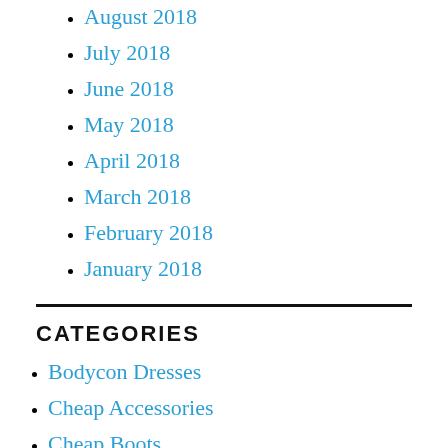August 2018
July 2018
June 2018
May 2018
April 2018
March 2018
February 2018
January 2018
CATEGORIES
Bodycon Dresses
Cheap Accessories
Cheap Boots
Cheap Jewelry